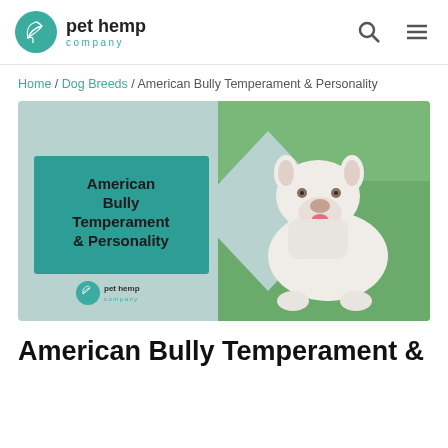pet hemp company
Home / Dog Breeds / American Bully Temperament & Personality
[Figure (illustration): Hero banner image for 'American Bully Temperament & Personality' article. Left side has a teal rectangle with bold text 'American Bully Temperament & Personality' and the pet hemp company logo. A diamond/chevron shape transitions to the right side which shows a white American Bully dog photographed against a green background.]
American Bully Temperament &